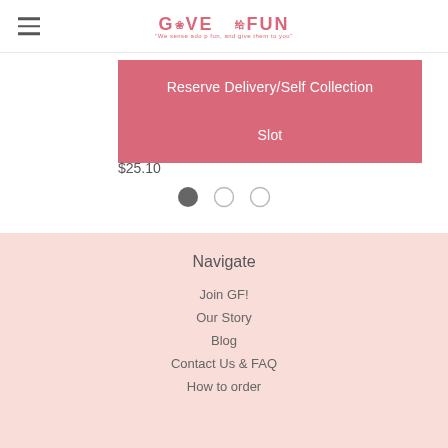GIVE FUN - We sense ado p fun, and give them to you
Reserve Delivery/Self Collection Slot
$25.10
[Figure (other): Three circular pagination dots: first filled dark gray, second and third empty with gray border]
Navigate
Join GF!
Our Story
Blog
Contact Us & FAQ
How to order